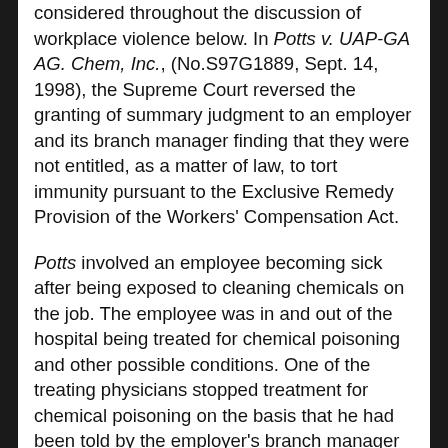considered throughout the discussion of workplace violence below. In Potts v. UAP-GA AG. Chem, Inc., (No.S97G1889, Sept. 14, 1998), the Supreme Court reversed the granting of summary judgment to an employer and its branch manager finding that they were not entitled, as a matter of law, to tort immunity pursuant to the Exclusive Remedy Provision of the Workers' Compensation Act.
Potts involved an employee becoming sick after being exposed to cleaning chemicals on the job. The employee was in and out of the hospital being treated for chemical poisoning and other possible conditions. One of the treating physicians stopped treatment for chemical poisoning on the basis that he had been told by the employer's branch manager that the Claimant could not have been exposed to any chemicals on the job. Sadly, the Claimant eventually died, the widow and dependents filed a wrongful death and survival action against the employer and the employer's branch manager alleged fraud and intentional infliction of emotional distress. The Trial Court granted summary judgment finding that the action was barred by Exclusive Remedy Provision of the